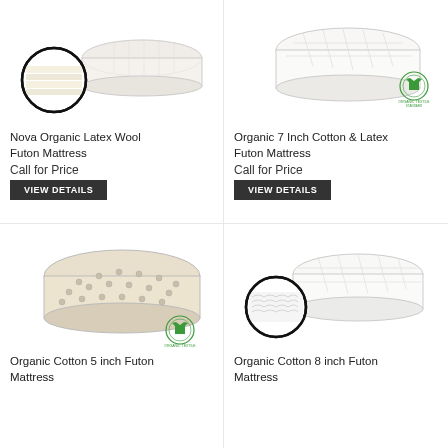[Figure (photo): Nova Organic Latex Wool Futon Mattress product photo with cross-section circle inset]
Nova Organic Latex Wool Futon Mattress
Call for Price
VIEW DETAILS
[Figure (photo): Organic 7 Inch Cotton & Latex Futon Mattress product photo with organic textile standard badge]
Organic 7 Inch Cotton & Latex Futon Mattress
Call for Price
VIEW DETAILS
[Figure (photo): Organic Cotton 5 inch Futon Mattress product photo with organic textile standard badge]
Organic Cotton 5 inch Futon Mattress
[Figure (photo): Organic Cotton 8 inch Futon Mattress product photo with cross-section circle inset]
Organic Cotton 8 inch Futon Mattress